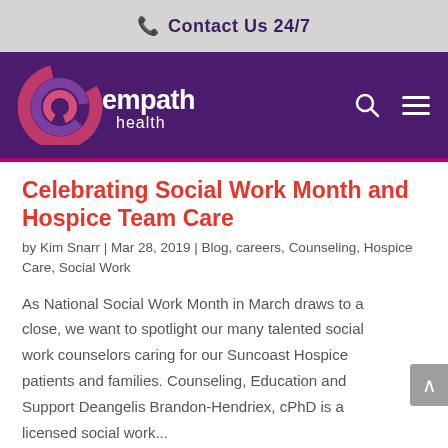Contact Us 24/7
[Figure (logo): Empath Health logo with swirl graphic on purple navigation bar]
Celebrating Social Work Month and Hospice Team Care
by Kim Snarr | Mar 28, 2019 | Blog, careers, Counseling, Hospice Care, Social Work
As National Social Work Month in March draws to a close, we want to spotlight our many talented social work counselors caring for our Suncoast Hospice patients and families. Counseling, Education and Support Deangelis Brandon-Hendriex, cPhD is a licensed social work...